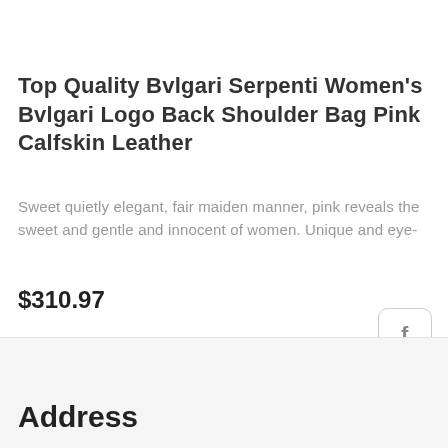Top Quality Bvlgari Serpenti Women's Bvlgari Logo Back Shoulder Bag Pink Calfskin Leather
Sweet quietly elegant, fair maiden manner, pink reveals the sweet and gentle and innocent of women. Unique and eye-
$310.97
[Figure (other): Carousel pagination dots: one filled dark circle followed by three lighter circles]
[Figure (other): Facebook social media icon button in a rounded square border]
[Figure (other): Skype social media icon button in a rounded square border]
Address